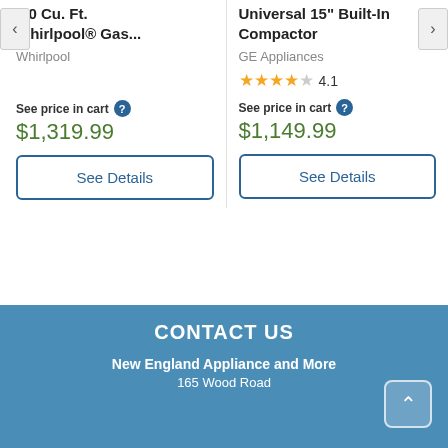5.0 Cu. Ft. Whirlpool® Gas...
Whirlpool
See price in cart
$1,319.99
See Details
Universal 15" Built-In Compactor
GE Appliances
4.1
See price in cart
$1,149.99
See Details
CONTACT US
New England Appliance and More
165 Wood Road